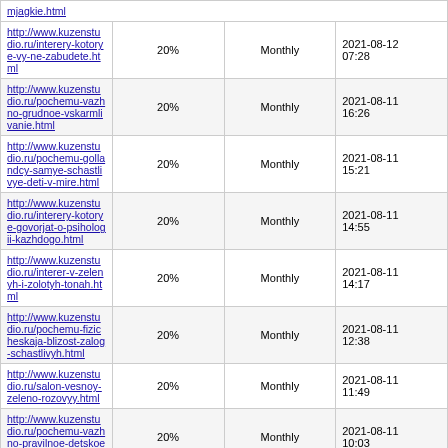| URL | Priority | Change Frequency | Last Modified |
| --- | --- | --- | --- |
| mjagkie.html |  |  |  |
| http://www.kuzenstudio.ru/interery-kotorye-vy-ne-zabudete.html | 20% | Monthly | 2021-08-12 07:28 |
| http://www.kuzenstudio.ru/pochemu-vazhno-grudnoe-vskarmlivanie.html | 20% | Monthly | 2021-08-11 16:26 |
| http://www.kuzenstudio.ru/pochemu-gollandcy-samye-schastlivye-deti-v-mire.html | 20% | Monthly | 2021-08-11 15:21 |
| http://www.kuzenstudio.ru/interery-kotorye-govorjat-o-psihologii-kazhdogo.html | 20% | Monthly | 2021-08-11 14:55 |
| http://www.kuzenstudio.ru/interer-v-zelenyh-i-zolotyh-tonah.html | 20% | Monthly | 2021-08-11 14:17 |
| http://www.kuzenstudio.ru/pochemu-fizicheskaja-blizost-zalog-schastlivyh.html | 20% | Monthly | 2021-08-11 12:38 |
| http://www.kuzenstudio.ru/salon-vesnoy-zeleno-rozovyy.html | 20% | Monthly | 2021-08-11 11:49 |
| http://www.kuzenstudio.ru/pochemu-vazhno-pravilnoe-detskoe-pitanie.html | 20% | Monthly | 2021-08-11 10:03 |
| http://www.kuzenstudio.ru/pochemu-detjam-vazhno-zanimatsja-sportom.html | 20% | Monthly | 2021-08-11 08:27 |
| http://www.kuzenstudio.ru/interer-vdohnovlennyy-rabotami-mon.html | 20% | Monthly | 2021-08-11 07:54 |
| http://www.kuzenstudio.ru/pochemu-deti-kopirujut-svoih-roditelej.html | 20% | Monthly | 2021-08-10 17:19 |
| http://www.kuzenstudio.ru/zachem- |  |  |  |